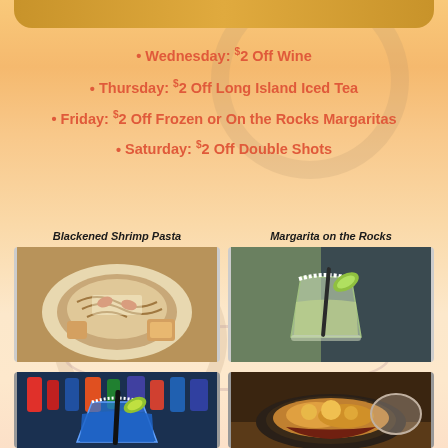• Wednesday: $2 Off Wine
• Thursday: $2 Off Long Island Iced Tea
• Friday: $2 Off Frozen or On the Rocks Margaritas
• Saturday: $2 Off Double Shots
Blackened Shrimp Pasta
[Figure (photo): Photo of Blackened Shrimp Pasta on a white plate with toast]
Margarita on the Rocks
[Figure (photo): Photo of a Margarita on the Rocks cocktail with lime]
[Figure (photo): Photo of a blue margarita cocktail]
[Figure (photo): Photo of a skillet dish with melted cheese]